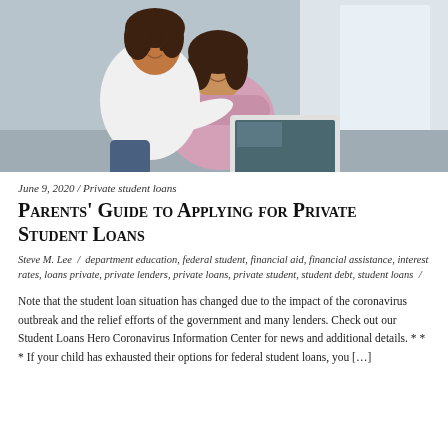[Figure (photo): Two women looking at a laptop together, one standing behind the other who is seated, in an office/home setting with natural light]
June 9, 2020 / Private student loans
Parents' Guide to Applying for Private Student Loans
Steve M. Lee / department education, federal student, financial aid, financial assistance, interest rates, loans private, private lenders, private loans, private student, student debt, student loans /
Note that the student loan situation has changed due to the impact of the coronavirus outbreak and the relief efforts of the government and many lenders. Check out our Student Loans Hero Coronavirus Information Center for news and additional details. * * * If your child has exhausted their options for federal student loans, you […]